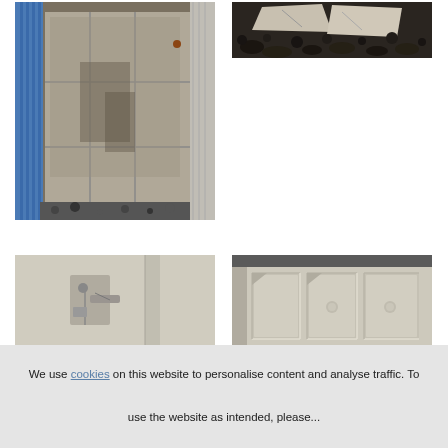[Figure (photo): Large tall photo of weathered concrete blocks/slabs stacked outdoors next to a blue corrugated metal wall, with gravel at the base]
[Figure (photo): Small photo of broken concrete chunks and rubble on dark gravel ground]
[Figure (photo): Photo of a pale painted wall or door with a mounted fixture/bracket attached]
[Figure (photo): Photo of a pale painted panel or door with raised decorative rectangular molding details]
We use cookies on this website to personalise content and analyse traffic. To use the website as intended, please...